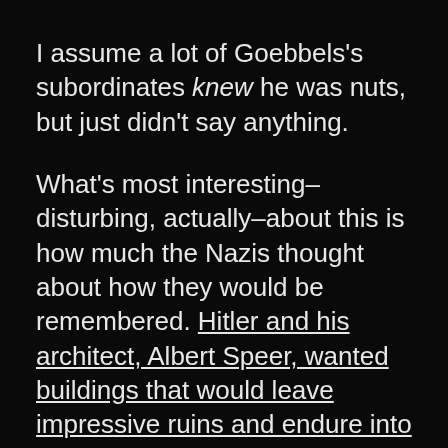I assume a lot of Goebbels's subordinates knew he was nuts, but just didn't say anything.
What's most interesting–disturbing, actually–about this is how much the Nazis thought about how they would be remembered. Hitler and his architect, Albert Speer, wanted buildings that would leave impressive ruins and endure into the future, like the Colosseum in Rome or the Parthenon in Greece.